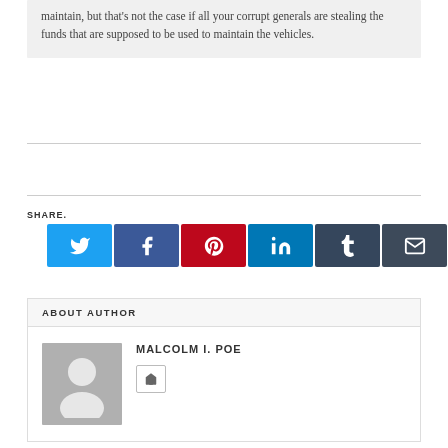maintain, but that's not the case if all your corrupt generals are stealing the funds that are supposed to be used to maintain the vehicles.
SHARE.
[Figure (other): Social share buttons: Twitter, Facebook, Pinterest, LinkedIn, Tumblr, Email]
ABOUT AUTHOR
MALCOLM I. POE
[Figure (other): Author avatar placeholder with home icon link]